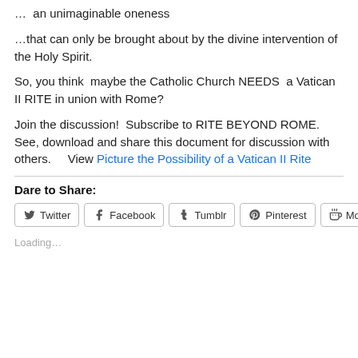…  an unimaginable oneness
…that can only be brought about by the divine intervention of the Holy Spirit.
So, you think  maybe the Catholic Church NEEDS  a Vatican II RITE in union with Rome?
Join the discussion!  Subscribe to RITE BEYOND ROME.   See, download and share this document for discussion with others.     View Picture the Possibility of a Vatican II Rite
Dare to Share:
[Figure (other): Social share buttons: Twitter, Facebook, Tumblr, Pinterest, More]
Loading...